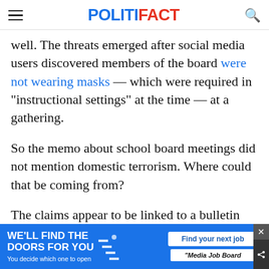POLITIFACT
well. The threats emerged after social media users discovered members of the board were not wearing masks — which were required in "instructional settings" at the time — at a gathering.
So the memo about school board meetings did not mention domestic terrorism. Where could that be coming from?
The claims appear to be linked to a bulletin from the National Terrorism Advisory Sys… which…
[Figure (other): Advertisement banner: 'WE'LL FIND THE DOORS FOR YOU — You decide which one to open' with Media Job Board logo and 'Find your next job' button]